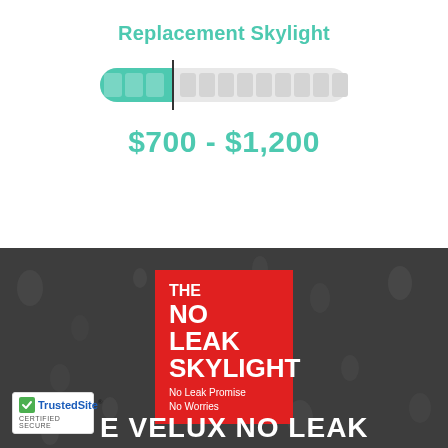Replacement Skylight
[Figure (infographic): A horizontal slider/progress bar showing teal filled left portion and grey segmented right portion, with a vertical needle marker at the boundary]
$700 - $1,200
[Figure (infographic): Dark grey background with water droplets, red box with white bold text reading 'THE NO LEAK SKYLIGHT - No Leak Promise No Worries', and TrustedSite Certified Secure badge in bottom left corner, partial white text 'E VELUX NO LEAK' at bottom]
THE NO LEAK SKYLIGHT No Leak Promise No Worries
TrustedSite CERTIFIED SECURE
E VELUX NO LEAK